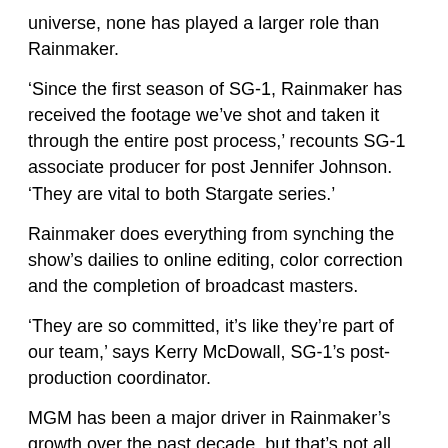universe, none has played a larger role than Rainmaker.
‘Since the first season of SG-1, Rainmaker has received the footage we’ve shot and taken it through the entire post process,’ recounts SG-1 associate producer for post Jennifer Johnson. ‘They are vital to both Stargate series.’
Rainmaker does everything from synching the show’s dailies to online editing, color correction and the completion of broadcast masters.
‘They are so committed, it’s like they’re part of our team,’ says Kerry McDowall, SG-1’s post-production coordinator.
MGM has been a major driver in Rainmaker’s growth over the past decade, but that’s not all, according to Barry Chambers, the post shop’s president.
‘They allow us to work with some of the best people in television who are doing really interesting, envelope-pushing work,’ he says.
Besides being good for business, Stargate has won the local post shops some industry recognition. Rainmaker has received a Gemini Award and four Emmy nominations for its